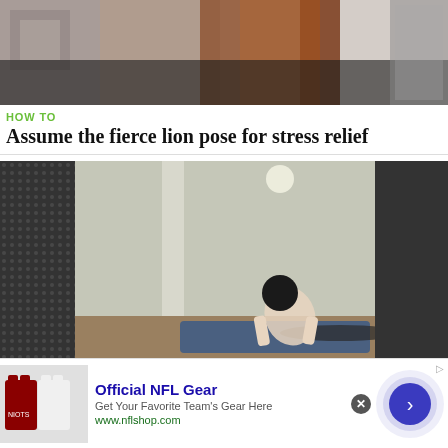[Figure (photo): Partial photo of a woman with long reddish-brown hair, cropped at the top of the page.]
HOW TO
Assume the fierce lion pose for stress relief
[Figure (photo): A person performing a yoga cobra/sphinx pose on a blue mat in a room with columns and a white wall, with dark patterned areas on the sides.]
HOW TO
Move from standing to lying down yoga poses
[Figure (other): Advertisement banner for Official NFL Gear with NFL jerseys image, blue headline, description text, green URL www.nflshop.com, close button, and a blue circle arrow button.]